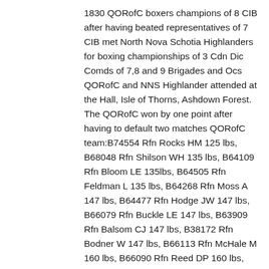1830 QORofC boxers champions of 8 CIB after having beated representatives of 7 CIB met North Nova Schotia Highlanders for boxing championships of 3 Cdn Dic Comds of 7,8 and 9 Brigades and Ocs QORofC and NNS Highlander attended at the Hall, Isle of Thorns, Ashdown Forest. The QORofC won by one point after having to default two matches QORofC team:B74554 Rfn Rocks HM 125 lbs, B68048 Rfn Shilson WH 135 lbs, B64109 Rfn Bloom LE 135lbs, B64505 Rfn Feldman L 135 lbs, B64268 Rfn Moss A 147 lbs, B64477 Rfn Hodge JW 147 lbs, B66079 Rfn Buckle LE 147 lbs, B63909 Rfn Balsom CJ 147 lbs, B38172 Rfn Bodner W 147 lbs, B66113 Rfn McHale M 160 lbs, B66090 Rfn Reed DP 160 lbs, B63673 Rfn Gemmell GT 160 lbs, B64192 Rfn Cross AP 175 lbs, B63713 Rfn JG Ross Heavyweight. Seconds Cpl Kavanagh,